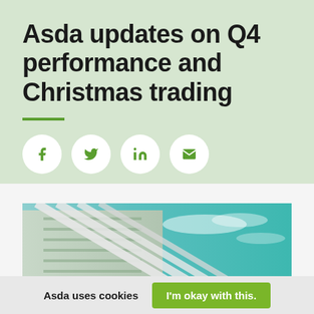Asda updates on Q4 performance and Christmas trading
[Figure (illustration): Social media share icons: Facebook (f), Twitter (bird), LinkedIn (in), Email (envelope) — each in a white circle on a green background]
[Figure (photo): Low-angle photograph of an Asda supermarket building exterior with white structural elements against a bright turquoise/blue sky with wispy clouds]
Asda uses cookies
I'm okay with this.